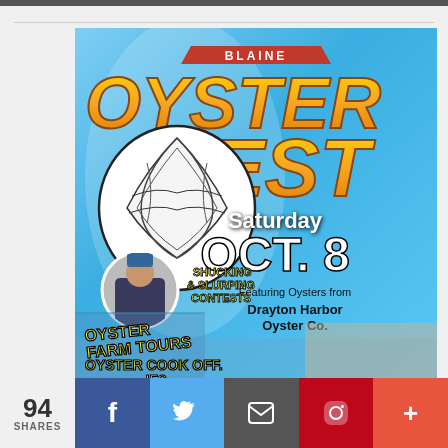[Figure (illustration): Blaine OysterFest event poster for Saturday Oct. 8, featuring oyster illustration, chef photo, shucking & slurping contests, oyster farm tours, oyster cook off, oysters from Drayton Harbor Oyster Co. Blue background with orange/yellow text.]
94 SHARES
Social sharing buttons: Facebook, Twitter, Email, Pinterest, More